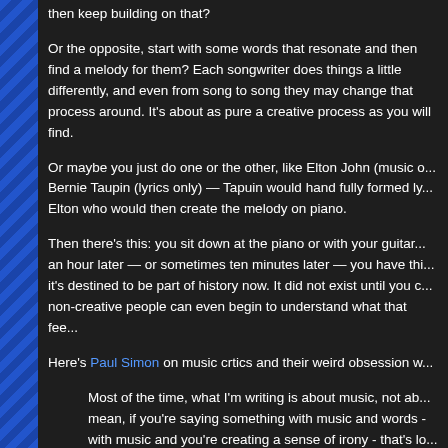then keep building on that?
Or the opposite, start with some words that resonate and then find the melody for them? Each songwriter does things a little differently, and even from song to song they may change that process around. It's about as pure a creative process as you will find.
Or maybe you just do one or the other, like Elton John (music only) and Bernie Taupin (lyrics only) — Tapuin would hand fully formed lyrics to Elton who would then create the melody on piano.
Then there's this:  you sit down at the piano or with your guitar and an hour later — or sometimes ten minutes later — you have this thing, it's destined to be part of history now. It did not exist until you created it. non-creative people can even begin to understand what that feel...
Here's Paul Simon on music crtics and their weird obsession w...
Most of the time, what I'm writing is about music, not ab... mean, if you're saying something with music and words - with music and you're creating a sense of irony - that's lo... write a song in 7/4 time and make it feel natural, let's say... was a clever way of doing 7/4 time. Instead, most critics...